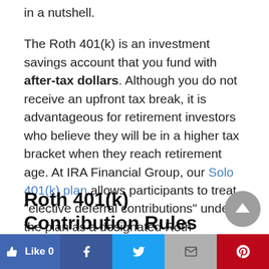in a nutshell.
The Roth 401(k) is an investment savings account that you fund with after-tax dollars. Although you do not receive an upfront tax break, it is advantageous for retirement investors who believe they will be in a higher tax bracket when they reach retirement age. At IRA Financial Group, our Solo 401(k) plan allows participants to treat “elective deferral contributions” under the plan as a designated Roth contribution.
Roth 401(k) Contribution Rules